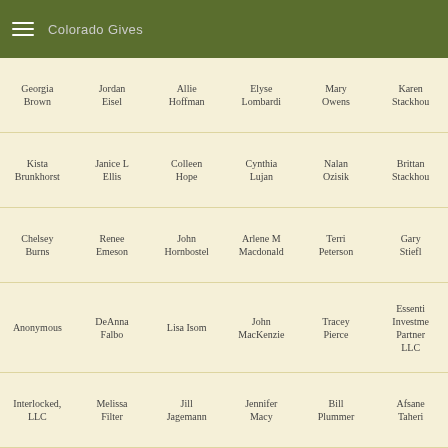Colorado Gives
Georgia Brown
Jordan Eisel
Allie Hoffman
Elyse Lombardi
Mary Owens
Karen Stackhou
Kista Brunkhorst
Janice L Ellis
Colleen Hope
Cynthia Lujan
Nalan Ozisik
Brittan Stackhou
Chelsey Burns
Renee Emeson
John Hornbostel
Arlene M Macdonald
Terri Peterson
Gary Stiefl
Anonymous
DeAnna Falbo
Lisa Isom
John MacKenzie
Tracey Pierce
Essential Investment Partners LLC
Interlocked, LLC
Melissa Filter
Jill Jagemann
Jennifer Macy
Bill Plummer
Afsane Taheri
Linda Cain
Chris Fisher
Jerry Jimenez
Scott Magnuson
Jill Polanycia
Elizabeth Tainto